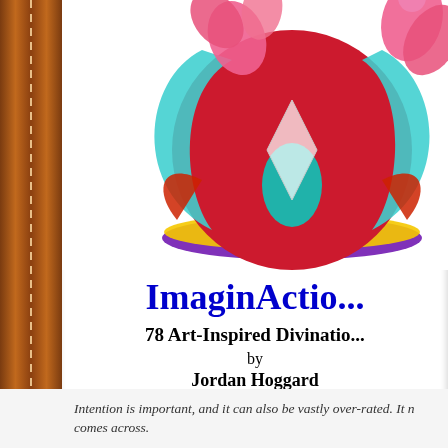[Figure (illustration): Colorful mandala/chakra artwork with pink flowers, cyan arc shapes, red circle, teal teardrop, and purple base — book cover art for ImaginAction tarot book]
ImaginActio...
78 Art-Inspired Divinatio...
by
Jordan Hoggard
Intention is important, and it can also be vastly over-rated. It ... comes across.